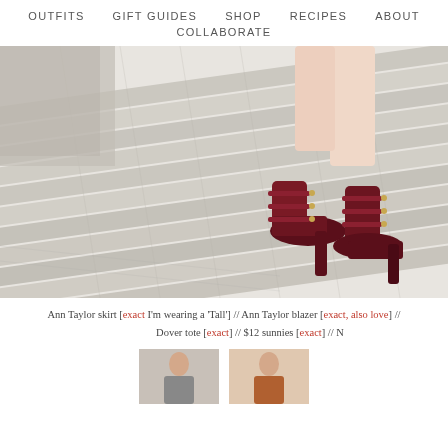OUTFITS  GIFT GUIDES  SHOP  RECIPES  ABOUT  COLLABORATE
[Figure (photo): Close-up photo of woman's legs wearing dark burgundy/maroon velvet Mary Jane heels with multiple straps, standing on a weathered wooden deck with light grey planks]
Ann Taylor skirt [exact I'm wearing a 'Tall']  //  Ann Taylor blazer [exact, also love]  //  Dover tote [exact]  //  $12 sunnies [exact]  // N